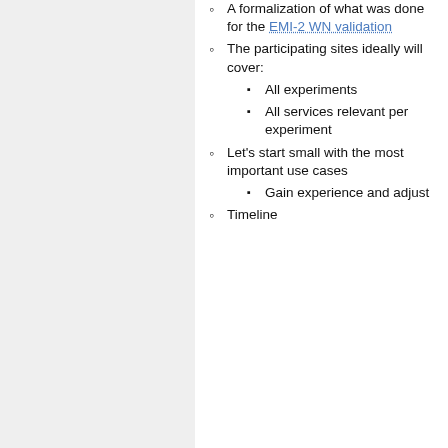A formalization of what was done for the EMI-2 WN validation
The participating sites ideally will cover:
All experiments
All services relevant per experiment
Let's start small with the most important use cases
Gain experience and adjust
Timeline